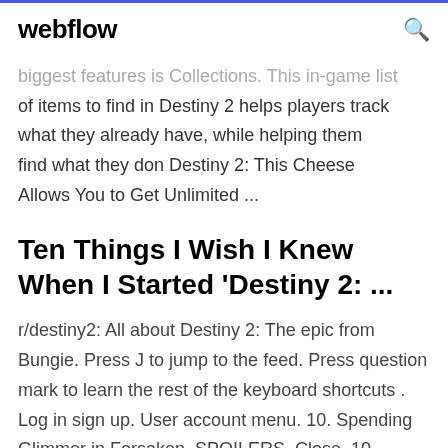webflow
biggest features is Collections. This in-game list of items to find in Destiny 2 helps players track what they already have, while helping them find what they don Destiny 2: This Cheese Allows You to Get Unlimited ...
Ten Things I Wish I Knew When I Started 'Destiny 2: ...
r/destiny2: All about Destiny 2: The epic from Bungie. Press J to jump to the feed. Press question mark to learn the rest of the keyboard shortcuts . Log in sign up. User account menu. 10. Spending Glimmer in Forsaken. SPOILERS. Close. 10. Posted by u/[deleted] 1 year ago.